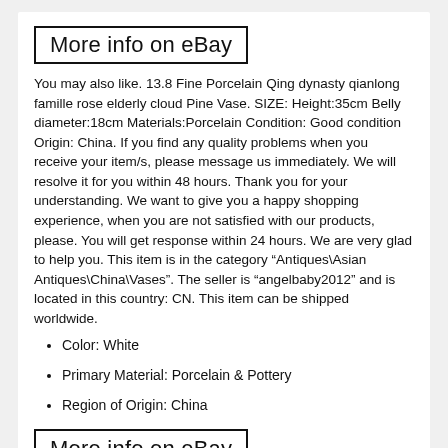More info on eBay
You may also like. 13.8 Fine Porcelain Qing dynasty qianlong famille rose elderly cloud Pine Vase. SIZE: Height:35cm Belly diameter:18cm Materials:Porcelain Condition: Good condition Origin: China. If you find any quality problems when you receive your item/s, please message us immediately. We will resolve it for you within 48 hours. Thank you for your understanding. We want to give you a happy shopping experience, when you are not satisfied with our products, please. You will get response within 24 hours. We are very glad to help you. This item is in the category “Antiques\Asian Antiques\China\Vases”. The seller is “angelbaby2012” and is located in this country: CN. This item can be shipped worldwide.
Color: White
Primary Material: Porcelain & Pottery
Region of Origin: China
More info on eBay
DECEMBER 4, 2021   ADMIN
Fine Chinese Famille Rose Porcelain Vase with Qianlong Nian Zhi Mark